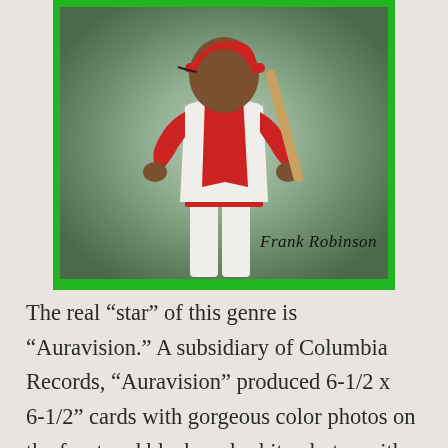[Figure (photo): A color photograph of Frank Robinson in a Cincinnati Reds baseball uniform in a batting stance, with his autograph visible in the lower right of the image. The photo is framed with a bright green border.]
The real “star” of this genre is “Auravision.” A subsidiary of Columbia Records, “Auravision” produced 6-1/2 x 6-1/2” cards with gorgeous color photos on the front and black-and-white photos with stats on the back. Apparently, the photos are unique to this product and are vivid and well-posed. The 33-1/3 rpm, clear record